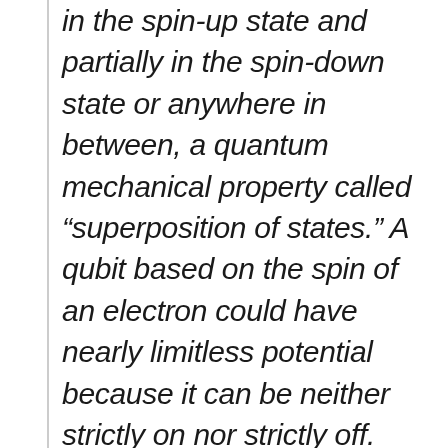in the spin-up state and partially in the spin-down state or anywhere in between, a quantum mechanical property called “superposition of states.” A qubit based on the spin of an electron could have nearly limitless potential because it can be neither strictly on nor strictly off.
New designs could take advantage of a rich set of possibilities offered by harnessing this property to